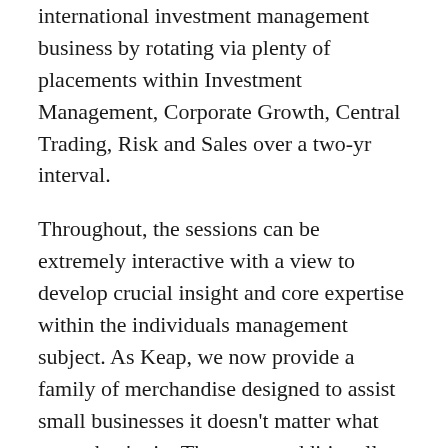international investment management business by rotating via plenty of placements within Investment Management, Corporate Growth, Central Trading, Risk and Sales over a two-yr interval.
Throughout, the sessions can be extremely interactive with a view to develop crucial insight and core expertise within the individuals management subject. As Keap, we now provide a family of merchandise designed to assist small businesses it doesn't matter what stage they're in. The course additionally supplies an outline of social media, Web-primarily based collaboration, and publishing and productiveness instruments (e.g. WordPress, LinkedIn, Twitter, YouTube).
Adjustments may additionally be designed to improve the and studying supporting or to respond to